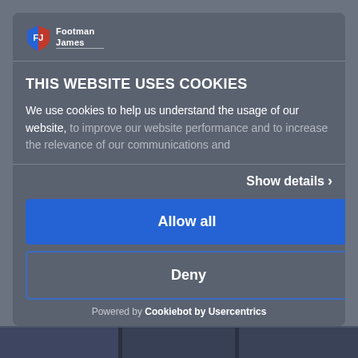[Figure (logo): Footman James logo with shield icon and text]
THIS WEBSITE USES COOKIES
We use cookies to help us understand the usage of our website, to improve our website performance and to increase the relevance of our communications and
Show details >
Allow all
Deny
Powered by Cookiebot by Usercentrics